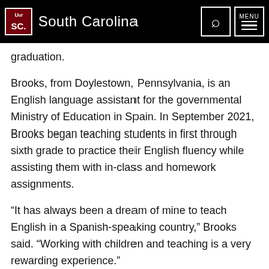University of South Carolina
graduation.
Brooks, from Doylestown, Pennsylvania, is an English language assistant for the governmental Ministry of Education in Spain. In September 2021, Brooks began teaching students in first through sixth grade to practice their English fluency while assisting them with in-class and homework assignments.
“It has always been a dream of mine to teach English in a Spanish-speaking country,” Brooks said. “Working with children and teaching is a very rewarding experience.”
Before moving to Spain while she was a UofSC undergraduate, Brooks studied abroad in Barcelona, Spain. Unfortunately, her time there was cut short due to the